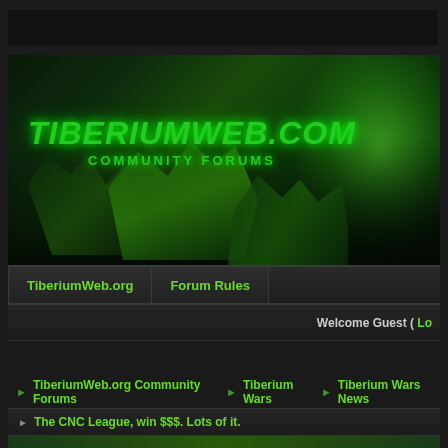[Figure (screenshot): TiberiumWeb.com Community Forums banner with green glowing tiberium crystals and dark background]
TiberiumWeb.org | Forum Rules
Welcome Guest ( Lo...
TiberiumWeb.org Community Forums ▶ Tiberium Wars ▶ Tiberium Wars News
The CNC League, win $$$. Lots of it.